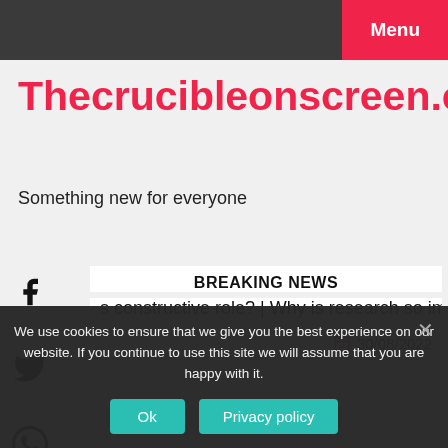Menu
Thecrucibleonscreen.com
Something new for everyone
BREAKING NEWS
s constructive role?  |  Why is research so important?  |  Did
30/08/2022
We use cookies to ensure that we give you the best experience on our website. If you continue to use this site we will assume that you are happy with it.
Ok
Privacy policy